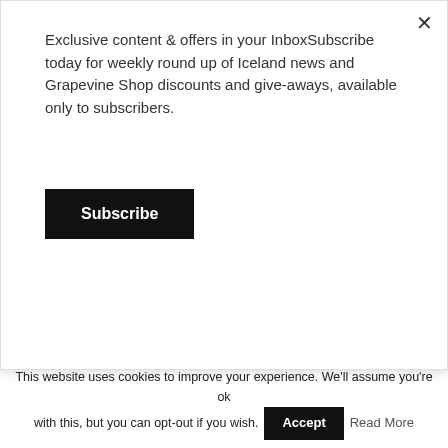Exclusive content & offers in your InboxSubscribe today for weekly round up of Iceland news and Grapevine Shop discounts and give-aways, available only to subscribers.
Subscribe
Volcanö
NEWS
Hrafnhildur Haraldsdóttir Crowned Miss Universe Iceland
NEWS
European Film Awards Selects 'Beautiful Beings' And 'Godland'
This website uses cookies to improve your experience. We'll assume you're ok with this, but you can opt-out if you wish.
Accept
Read More